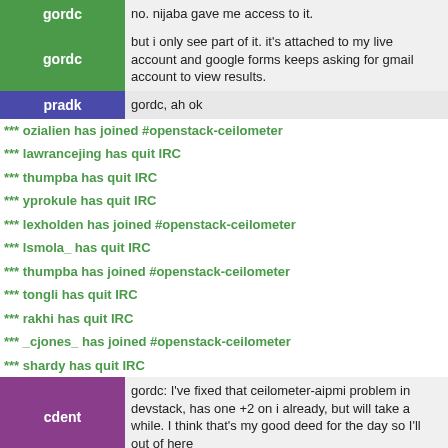gordc | no. nijaba gave me access to it.
gordc | but i only see part of it. it's attached to my live account and google forms keeps asking for gmail account to view results.
pradk | gordc, ah ok
*** ozialien has joined #openstack-ceilometer
*** lawrancejing has quit IRC
*** thumpba has quit IRC
*** yprokule has quit IRC
*** lexholden has joined #openstack-ceilometer
*** lsmola_ has quit IRC
*** thumpba has joined #openstack-ceilometer
*** tongli has quit IRC
*** rakhi has quit IRC
*** _cjones_ has joined #openstack-ceilometer
*** shardy has quit IRC
cdent | gordc: I've fixed that ceilometer-aipmi problem in devstack, has one +2 on i already, but will take a while. I think that's my good deed for the day so I'll out of here
cdent | https://review.openstack.org/#/c/233106/
*** nadya has joined #openstack-ceilometer
*** cdent has quit IRC